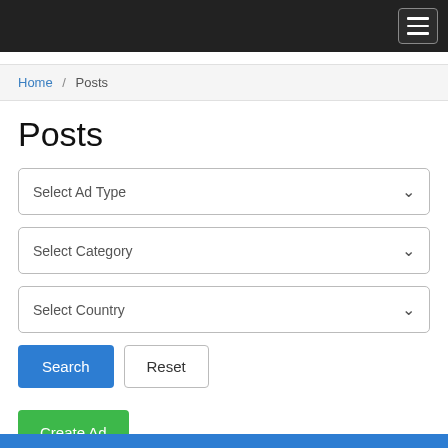Navigation bar with hamburger menu
Home / Posts
Posts
Select Ad Type
Select Category
Select Country
Search
Reset
Create Ad